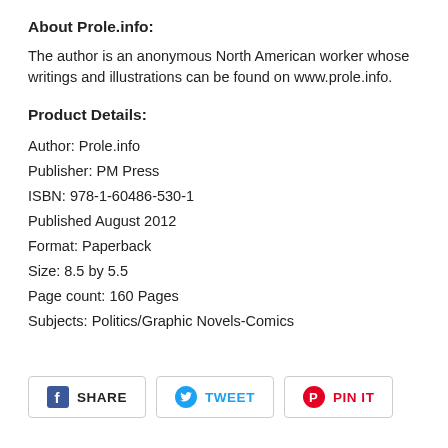About Prole.info:
The author is an anonymous North American worker whose writings and illustrations can be found on www.prole.info.
Product Details:
Author: Prole.info
Publisher: PM Press
ISBN: 978-1-60486-530-1
Published August 2012
Format: Paperback
Size: 8.5 by 5.5
Page count: 160 Pages
Subjects: Politics/Graphic Novels-Comics
[Figure (other): Social sharing buttons: Facebook Share, Twitter Tweet, Pinterest Pin It]